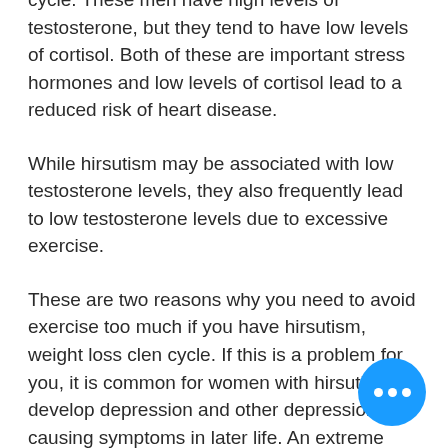cycle. These men have high levels of testosterone, but they tend to have low levels of cortisol. Both of these are important stress hormones and low levels of cortisol lead to a reduced risk of heart disease.
While hirsutism may be associated with low testosterone levels, they also frequently lead to low testosterone levels due to excessive exercise.
These are two reasons why you need to avoid exercise too much if you have hirsutism, weight loss clen cycle. If this is a problem for you, it is common for women with hirsutism to develop depression and other depression-causing symptoms in later life. An extreme stress response to high testosterone can also be harmful to you, as described here.
Testosterone can cause unwanted erections,